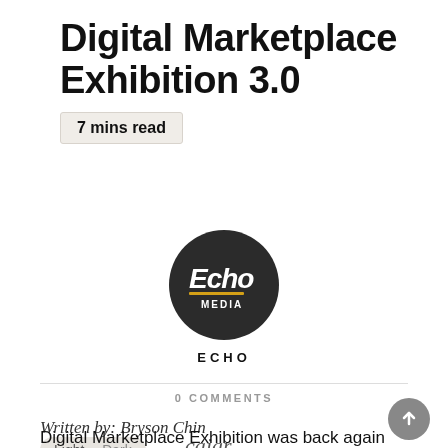Digital Marketplace Exhibition 3.0
7 mins read
[Figure (logo): Echo Media circular logo — dark background with stylized script text 'Echo' and 'MEDIA' below, with a yellow underline accent]
ECHO
0 COMMENTS
Written by: Bryson Chin
Light  Dark  cajar
Digital Marketplace Exhibition was back again